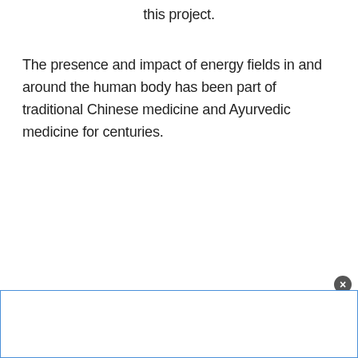this project.
The presence and impact of energy fields in and around the human body has been part of traditional Chinese medicine and Ayurvedic medicine for centuries.
[Figure (other): Popup or overlay box with a close button (X) in the bottom portion of the page, bordered with a blue outline.]